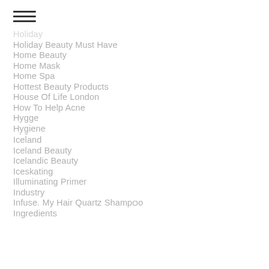Holiday
Holiday Beauty Must Have
Home Beauty
Home Mask
Home Spa
Hottest Beauty Products
House Of Life London
How To Help Acne
Hygge
Hygiene
Iceland
Iceland Beauty
Icelandic Beauty
Iceskating
Illuminating Primer
Industry
Infuse. My Hair Quartz Shampoo
Ingredients